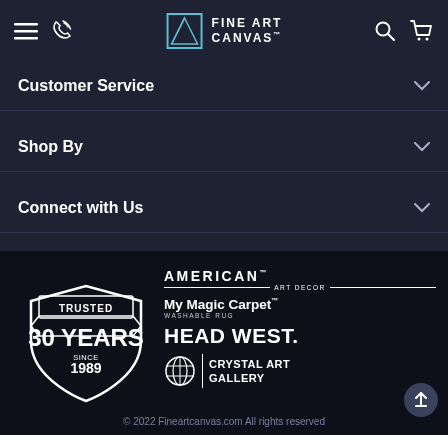Fine Art Canvas navigation bar with hamburger menu, phone icon, logo, search, and cart icons
Customer Service
Shop By
Connect with Us
[Figure (logo): Trusted 30 Years since 1989 badge in white on black background]
[Figure (logo): American Art Decor logo]
[Figure (logo): My Magic Carpet Washable Rug logo]
[Figure (logo): Head West logo]
[Figure (logo): Crystal Art Gallery logo with globe icon]
© 2022 Fineartcanvas.com All rights reserved